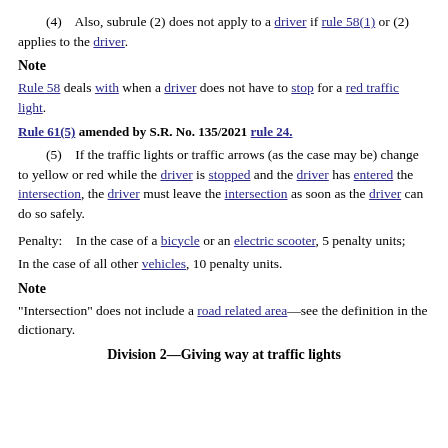(4)    Also, subrule (2) does not apply to a driver if rule 58(1) or (2) applies to the driver.
Note
Rule 58 deals with when a driver does not have to stop for a red traffic light.
Rule 61(5) amended by S.R. No. 135/2021 rule 24.
(5)    If the traffic lights or traffic arrows (as the case may be) change to yellow or red while the driver is stopped and the driver has entered the intersection, the driver must leave the intersection as soon as the driver can do so safely.
Penalty:    In the case of a bicycle or an electric scooter, 5 penalty units;
In the case of all other vehicles, 10 penalty units.
Note
"Intersection" does not include a road related area—see the definition in the dictionary.
Division 2—Giving way at traffic lights